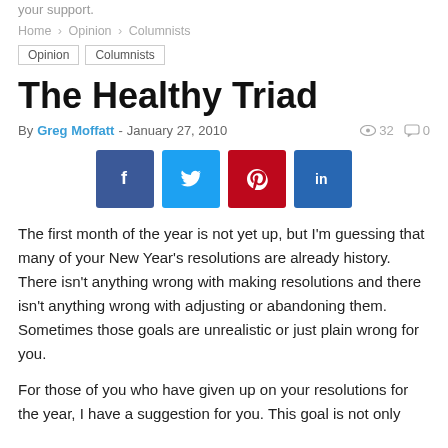your support.
Home > Opinion > Columnists
Opinion   Columnists
The Healthy Triad
By Greg Moffatt - January 27, 2010   32   0
[Figure (other): Social media share buttons: Facebook, Twitter, Pinterest, LinkedIn]
The first month of the year is not yet up, but I'm guessing that many of your New Year's resolutions are already history. There isn't anything wrong with making resolutions and there isn't anything wrong with adjusting or abandoning them. Sometimes those goals are unrealistic or just plain wrong for you.
For those of you who have given up on your resolutions for the year, I have a suggestion for you. This goal is not only